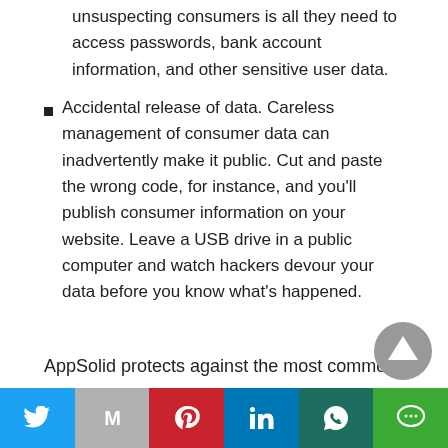unsuspecting consumers is all they need to access passwords, bank account information, and other sensitive user data.
Accidental release of data. Careless management of consumer data can inadvertently make it public. Cut and paste the wrong code, for instance, and you'll publish consumer information on your website. Leave a USB drive in a public computer and watch hackers devour your data before you know what's happened.
AppSolid protects against the most common
Twitter | Gmail | Pinterest | LinkedIn | WhatsApp | Line